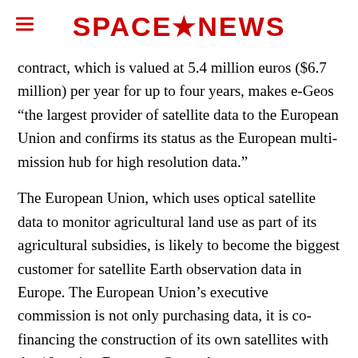SPACENEWS
contract, which is valued at 5.4 million euros ($6.7 million) per year for up to four years, makes e-Geos “the largest provider of satellite data to the European Union and confirms its status as the European multi-mission hub for high resolution data.”
The European Union, which uses optical satellite data to monitor agricultural land use as part of its agricultural subsidies, is likely to become the biggest customer for satellite Earth observation data in Europe. The European Union’s executive commission is not only purchasing data, it is co-financing the construction of its own satellites with the 18-nation European Space Agency.
GeoEye-1 and Ikonos data will be provided through the e-Geos processing facility in Neustrelitz, Germany,